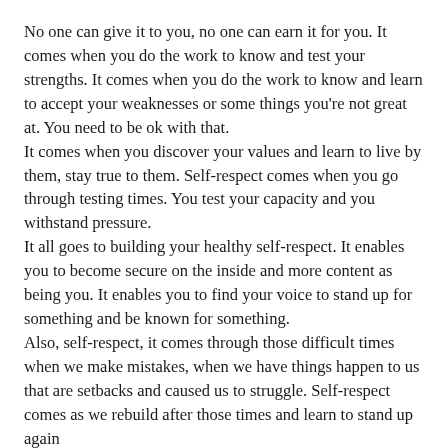No one can give it to you, no one can earn it for you. It comes when you do the work to know and test your strengths. It comes when you do the work to know and learn to accept your weaknesses or some things you're not great at. You need to be ok with that.
It comes when you discover your values and learn to live by them, stay true to them. Self-respect comes when you go through testing times. You test your capacity and you withstand pressure.
It all goes to building your healthy self-respect. It enables you to become secure on the inside and more content as being you. It enables you to find your voice to stand up for something and be known for something.
Also, self-respect, it comes through those difficult times when we make mistakes, when we have things happen to us that are setbacks and caused us to struggle. Self-respect comes as we rebuild after those times and learn to stand up again